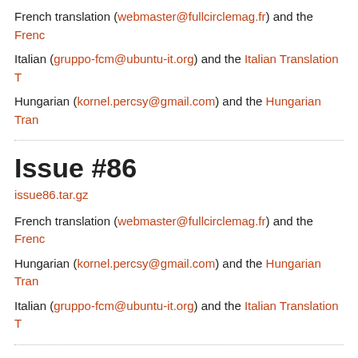French translation (webmaster@fullcirclemag.fr) and the Frenc...
Italian (gruppo-fcm@ubuntu-it.org) and the Italian Translation T...
Hungarian (kornel.percsy@gmail.com) and the Hungarian Tran...
Issue #86
issue86.tar.gz
French translation (webmaster@fullcirclemag.fr) and the Frenc...
Hungarian (kornel.percsy@gmail.com) and the Hungarian Tran...
Italian (gruppo-fcm@ubuntu-it.org) and the Italian Translation T...
Issue #87
issue87.tar.gz
French translation (webmaster@fullcirclemag.fr) and the Frenc...
Hungarian (kornel.percsy@gmail.com) and the Hungarian Tran...
Italian (gruppo-fcm@ubuntu-it.org) and the Italian Translation T...